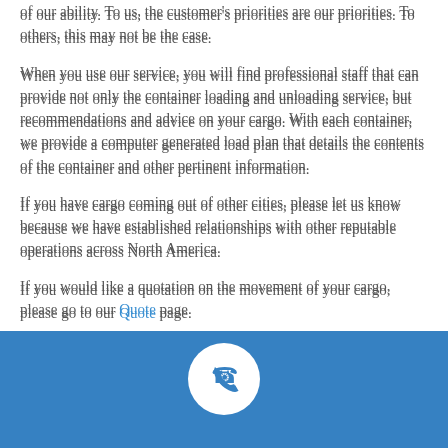of our ability. To us, the customer's priorities are our priorities. To others, this may not be the case.
When you use our service, you will find professional staff that can provide not only the container loading and unloading service, but recommendations and advice on your cargo. With each container, we provide a computer generated load plan that details the contents of the container and other pertinent information.
If you have cargo coming out of other cities, please let us know because we have established relationships with other reputable operations across North America.
If you would like a quotation on the movement of your cargo, please go to our Quote page.
[Figure (illustration): Blue banner with white circular phone/call icon in the center]